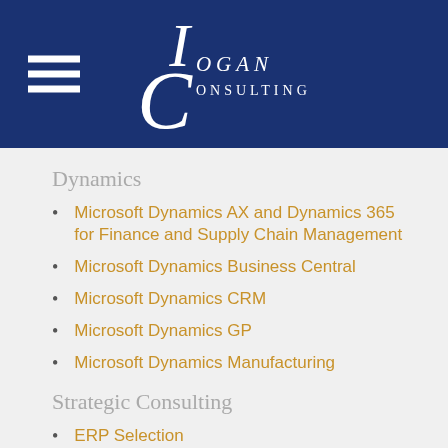[Figure (logo): Logan Consulting logo with stylized LC monogram on dark navy blue header background, with hamburger menu icon on the left]
Dynamics
Microsoft Dynamics AX and Dynamics 365 for Finance and Supply Chain Management
Microsoft Dynamics Business Central
Microsoft Dynamics CRM
Microsoft Dynamics GP
Microsoft Dynamics Manufacturing
Strategic Consulting
ERP Selection
M&A